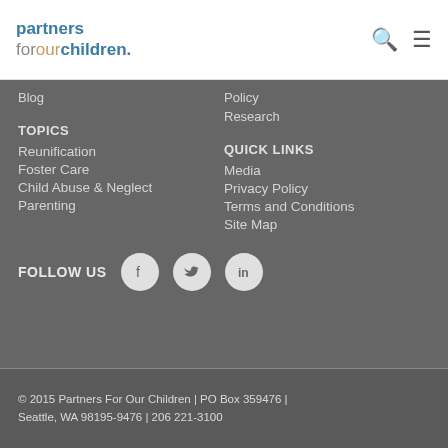partners for our children.
Blog
Policy
Research
TOPICS
Reunification
Foster Care
Child Abuse & Neglect
Parenting
QUICK LINKS
Media
Privacy Policy
Terms and Conditions
Site Map
FOLLOW US
© 2015 Partners For Our Children | PO Box 359476 | Seattle, WA 98195-9476 | 206 221-3100